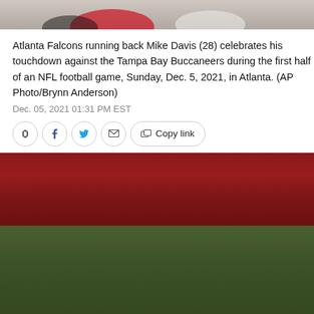[Figure (photo): Top portion of a football game photo showing Atlanta Falcons players]
Atlanta Falcons running back Mike Davis (28) celebrates his touchdown against the Tampa Bay Buccaneers during the first half of an NFL football game, Sunday, Dec. 5, 2021, in Atlanta. (AP Photo/Brynn Anderson)
Dec. 05, 2021 01:31 PM EST
[Figure (photo): Atlanta Falcons running back Mike Davis (28) carrying the ball while being pursued by Tampa Bay Buccaneers defenders including player number 26, during an NFL game.]